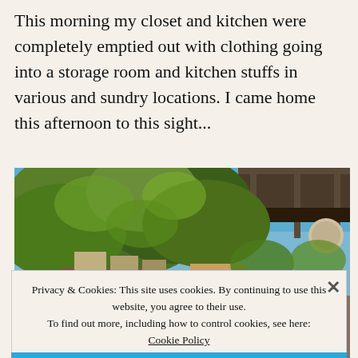This morning my closet and kitchen were completely emptied out with clothing going into a storage room and kitchen stuffs in various and sundry locations. I came home this afternoon to this sight...
[Figure (photo): Outdoor patio or garden area with lush green grapevine or climbing plants covering a pergola/trellis structure. Wooden beams visible, blue sky in background, various items and furniture underneath.]
Privacy & Cookies: This site uses cookies. By continuing to use this website, you agree to their use.
To find out more, including how to control cookies, see here: Cookie Policy